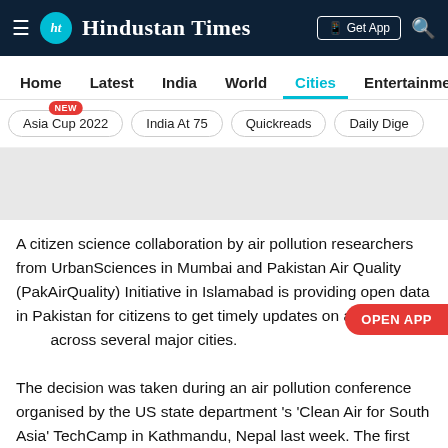Hindustan Times
Home | Latest | India | World | Cities | Entertainment
Asia Cup 2022 NEW | India At 75 | Quickreads | Daily Dige
[Figure (other): Advertisement banner placeholder (grey rectangle)]
A citizen science collaboration by air pollution researchers from UrbanSciences in Mumbai and Pakistan Air Quality (PakAirQuality) Initiative in Islamabad is providing open data in Pakistan for citizens to get timely updates on air across several major cities.
The decision was taken during an air pollution conference organised by the US state department 's 'Clean Air for South Asia' TechCamp in Kathmandu, Nepal last week. The first monitor went online in Karachi on Friday, reporting particulate matter (PM2.5 and PM10) data. A team in Pakistan is in the